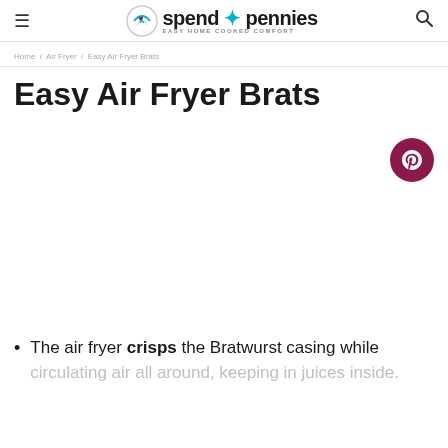spend with pennies — Easy Home Cooked Comfort
Easy Air Fryer Brats
[Figure (other): Large food photo area (blank/white in this view) with a Pinterest share button (circular dark red button with P icon) in the top right corner]
The air fryer crisps the Bratwurst casing while circulating air all around, keeping in juices inside.